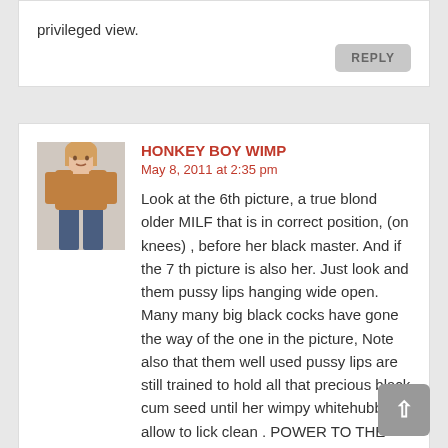privileged view.
REPLY
HONKEY BOY WIMP
May 8, 2011 at 2:35 pm
Look at the 6th picture, a true blond older MILF that is in correct position, (on knees) , before her black master. And if the 7 th picture is also her. Just look and them pussy lips hanging wide open. Many many big black cocks have gone the way of the one in the picture, Note also that them well used pussy lips are still trained to hold all that precious black cum seed until her wimpy whitehubby is allow to lick clean . POWER TO THE BLACK MASTERS